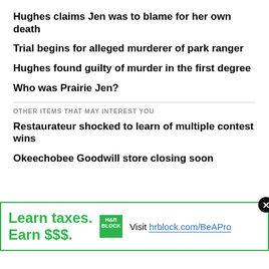Hughes claims Jen was to blame for her own death
Trial begins for alleged murderer of park ranger
Hughes found guilty of murder in the first degree
Who was Prairie Jen?
OTHER ITEMS THAT MAY INTEREST YOU
Restaurateur shocked to learn of multiple contest wins
Okeechobee Goodwill store closing soon
[Figure (infographic): H&R Block advertisement banner: 'Learn taxes. Earn $$$.' with H&R Block green logo and text 'Visit hrblock.com/BeAPro']